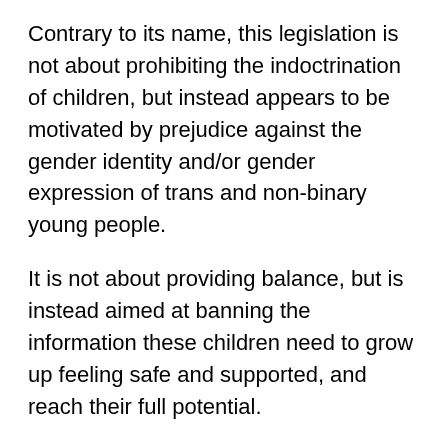Contrary to its name, this legislation is not about prohibiting the indoctrination of children, but instead appears to be motivated by prejudice against the gender identity and/or gender expression of trans and non-binary young people.
It is not about providing balance, but is instead aimed at banning the information these children need to grow up feeling safe and supported, and reach their full potential.
And it is not about ensuring all students enjoy an inclusive education, but instead seeks to erase trans and gender diverse kids. From the curriculum, and from the classroom.
These disturbing truths are revealed by Senator Hanson's Second Reading Speech, where she spends almost half of